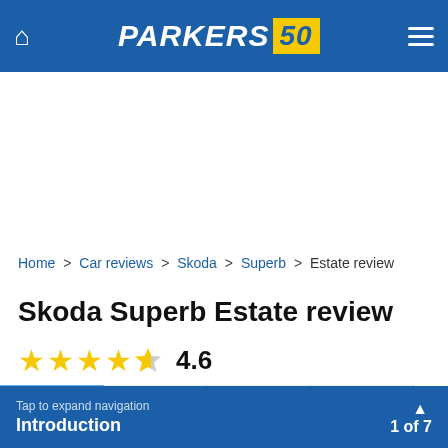PARKERS 50
Home > Car reviews > Skoda > Superb > Estate review
Skoda Superb Estate review
4.6 stars
Review | Owner Reviews | Specs | For Sale
A great estate with bags of room, majoring on
Tap to expand navigation  Introduction  1 of 7